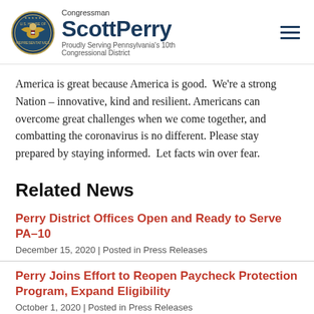Congressman Scott Perry — Proudly Serving Pennsylvania's 10th Congressional District
America is great because America is good. We're a strong Nation – innovative, kind and resilient. Americans can overcome great challenges when we come together, and combatting the coronavirus is no different. Please stay prepared by staying informed. Let facts win over fear.
Related News
Perry District Offices Open and Ready to Serve PA-10
December 15, 2020 | Posted in Press Releases
Perry Joins Effort to Reopen Paycheck Protection Program, Expand Eligibility
October 1, 2020 | Posted in Press Releases